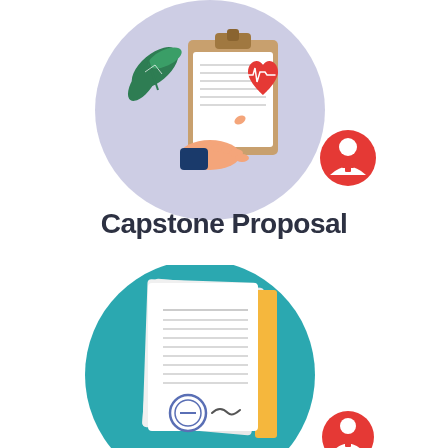[Figure (illustration): Top illustration: a lavender/purple circle background with a hand holding a clipboard, a red heart with EKG line, and green plant leaves. A red circular badge with a nurse/doctor icon appears to the right.]
Capstone Proposal
[Figure (illustration): Bottom illustration: a teal circle background with stacked document pages, a yellow folder tab, a stamp/seal and signature. A red circular badge with a nurse/doctor icon appears at bottom right.]